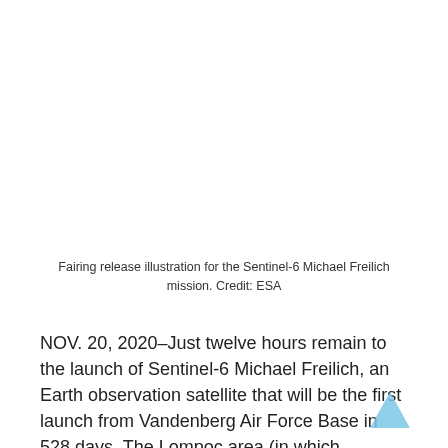Fairing release illustration for the Sentinel-6 Michael Freilich mission. Credit: ESA
NOV. 20, 2020–Just twelve hours remain to the launch of Sentinel-6 Michael Freilich, an Earth observation satellite that will be the first launch from Vandenberg Air Force Base in 528 days. The Lompoc area (in which Vandenberg is located) is expected to be absolutely packed for the launch, with COVID restrictions already